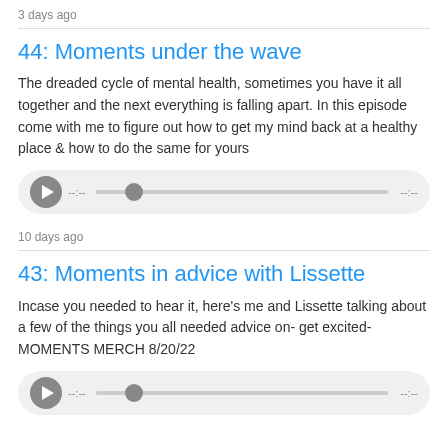3 days ago
44: Moments under the wave
The dreaded cycle of mental health, sometimes you have it all together and the next everything is falling apart. In this episode come with me to figure out how to get my mind back at a healthy place & how to do the same for yours
[Figure (other): Audio player with play button, progress bar, and time indicators showing --:-- on both sides]
10 days ago
43: Moments in advice with Lissette
Incase you needed to hear it, here's me and Lissette talking about a few of the things you all needed advice on- get excited- MOMENTS MERCH 8/20/22
[Figure (other): Partial audio player visible at bottom]